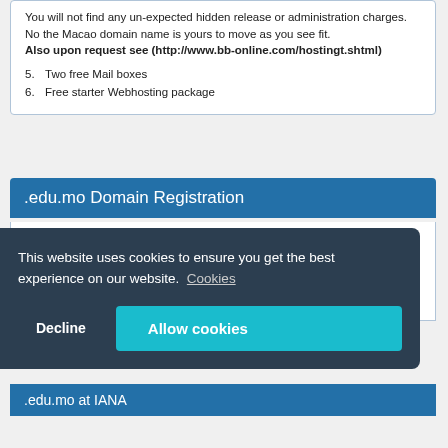You will not find any un-expected hidden release or administration charges. No the Macao domain name is yours to move as you see fit. Also upon request see (http://www.bb-online.com/hostingt.shtml)
5. Two free Mail boxes
6. Free starter Webhosting package
.edu.mo Domain Registration
[Figure (illustration): Flag of Macau — green background with white lotus flower and five gold stars]
$65.20 for 1 year
.edu.mo at IANA
This website uses cookies to ensure you get the best experience on our website.  Cookies
Decline
Allow cookies